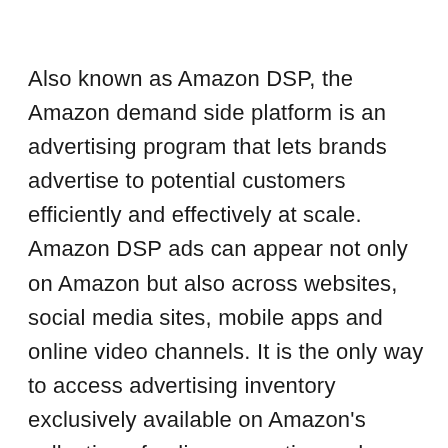Also known as Amazon DSP, the Amazon demand side platform is an advertising program that lets brands advertise to potential customers efficiently and effectively at scale. Amazon DSP ads can appear not only on Amazon but also across websites, social media sites, mobile apps and online video channels. It is the only way to access advertising inventory exclusively available on Amazon's collection of online properties and devices, such as Kindle, Fire TV, IMDb and more.